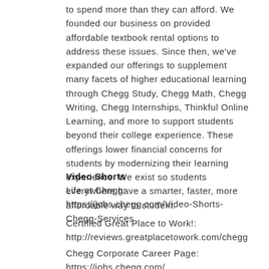to spend more than they can afford. We founded our business on provided affordable textbook rental options to address these issues. Since then, we've expanded our offerings to supplement many facets of higher educational learning through Chegg Study, Chegg Math, Chegg Writing, Chegg Internships, Thinkful Online Learning, and more to support students beyond their college experience. These offerings lower financial concerns for students by modernizing their learning experience. We exist so students everywhere have a smarter, faster, more affordable way to student.
Video Shorts
Life at Chegg: https://jobs.chegg.com/Video-Shorts-Chegg-Services
Certified Great Place to Work!: http://reviews.greatplacetowork.com/chegg
Chegg Corporate Career Page: https://jobs.chegg.com/